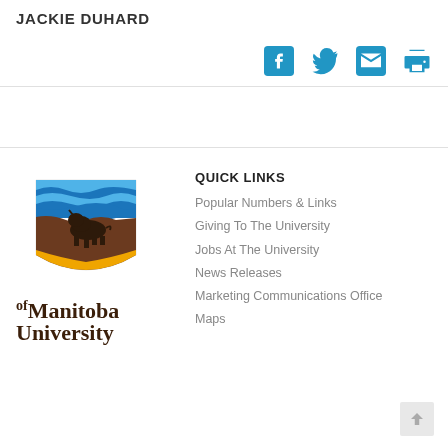JACKIE DUHARD
[Figure (infographic): Social media icons: Facebook, Twitter, Email, Print — all in blue]
[Figure (logo): University of Manitoba logo — shield with bison and blue waves above brown rocky landscape with gold base, and 'University of Manitoba' wordmark in dark brown serif font below]
QUICK LINKS
Popular Numbers & Links
Giving To The University
Jobs At The University
News Releases
Marketing Communications Office
Maps